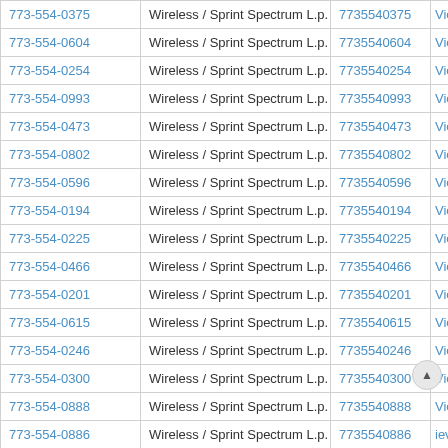| Phone | Carrier | Number | Action |
| --- | --- | --- | --- |
| 773-554-0375 | Wireless / Sprint Spectrum L.p. | 7735540375 | View |
| 773-554-0604 | Wireless / Sprint Spectrum L.p. | 7735540604 | View |
| 773-554-0254 | Wireless / Sprint Spectrum L.p. | 7735540254 | View |
| 773-554-0993 | Wireless / Sprint Spectrum L.p. | 7735540993 | View |
| 773-554-0473 | Wireless / Sprint Spectrum L.p. | 7735540473 | View |
| 773-554-0802 | Wireless / Sprint Spectrum L.p. | 7735540802 | View |
| 773-554-0596 | Wireless / Sprint Spectrum L.p. | 7735540596 | View |
| 773-554-0194 | Wireless / Sprint Spectrum L.p. | 7735540194 | View |
| 773-554-0225 | Wireless / Sprint Spectrum L.p. | 7735540225 | View |
| 773-554-0466 | Wireless / Sprint Spectrum L.p. | 7735540466 | View |
| 773-554-0201 | Wireless / Sprint Spectrum L.p. | 7735540201 | View |
| 773-554-0615 | Wireless / Sprint Spectrum L.p. | 7735540615 | View |
| 773-554-0246 | Wireless / Sprint Spectrum L.p. | 7735540246 | View |
| 773-554-0300 | Wireless / Sprint Spectrum L.p. | 7735540300 | View |
| 773-554-0888 | Wireless / Sprint Spectrum L.p. | 7735540888 | View |
| 773-554-0886 | Wireless / Sprint Spectrum L.p. | 7735540886 | iew |
| 773-554-0897 | Wireless / Sprint Spectrum L.p. | 7735540897 | View |
| 773-554-0871 | Wireless / Sprint Spectrum L.p. | 7735540871 | View |
| 773-554-0037 | Wireless / Sprint Spectrum L.p. | 7735540037 | View |